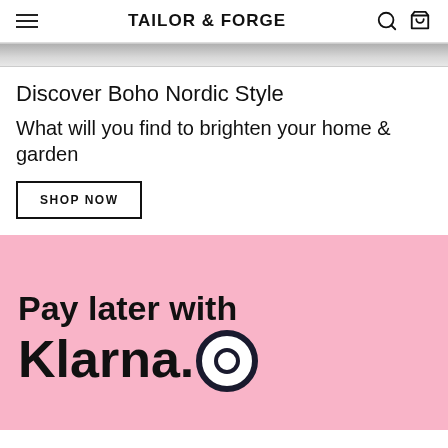TAILOR & FORGE
[Figure (screenshot): Cropped top portion of a product image with grey tones]
Discover Boho Nordic Style
What will you find to brighten your home & garden
SHOP NOW
[Figure (infographic): Pink banner advertisement reading 'Pay later with Klarna' with Klarna logo]